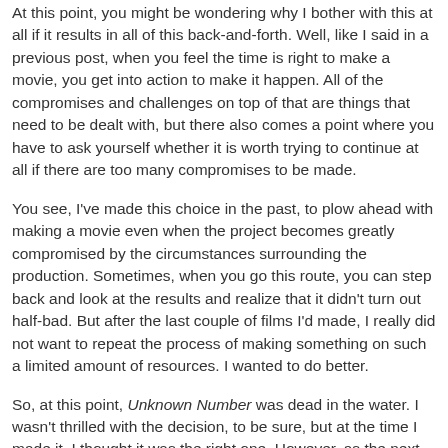At this point, you might be wondering why I bother with this at all if it results in all of this back-and-forth. Well, like I said in a previous post, when you feel the time is right to make a movie, you get into action to make it happen. All of the compromises and challenges on top of that are things that need to be dealt with, but there also comes a point where you have to ask yourself whether it is worth trying to continue at all if there are too many compromises to be made.
You see, I've made this choice in the past, to plow ahead with making a movie even when the project becomes greatly compromised by the circumstances surrounding the production. Sometimes, when you go this route, you can step back and look at the results and realize that it didn't turn out half-bad. But after the last couple of films I'd made, I really did not want to repeat the process of making something on such a limited amount of resources. I wanted to do better.
So, at this point, Unknown Number was dead in the water. I wasn't thrilled with the decision, to be sure, but at the time I made it, I thought it was the right one. However, as the next several days passed, I found myself thinking about the